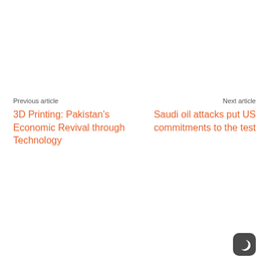Previous article
3D Printing: Pakistan's Economic Revival through Technology
Next article
Saudi oil attacks put US commitments to the test
[Figure (illustration): Dark mode toggle button icon, a crescent moon symbol on a dark rounded square background]